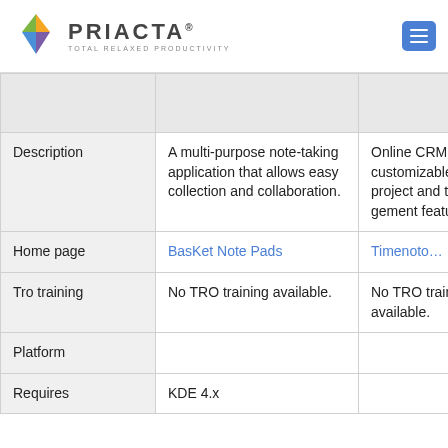PRIACTA® — TOTAL RELAXED PRODUCTIVITY
|  | BasKet Note Pads | Timetonote (partial) |
| --- | --- | --- |
| Description | A multi-purpose note-taking application that allows easy collection and collaboration. | Online CRM, simple, customizable based project and task management features. |
| Home page | BasKet Note Pads | Timetonote |
| Tro training | No TRO training available. | No TRO training available. |
| Platform |  |  |
| Requires | KDE 4.x |  |